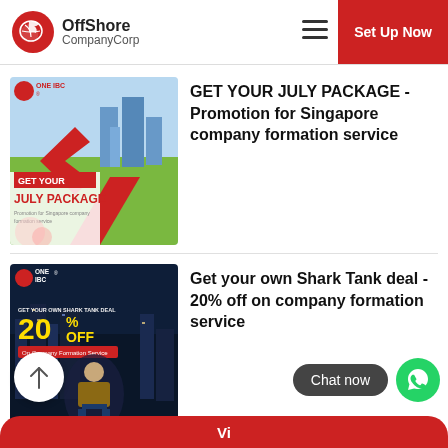OffShore CompanyCorp | Set Up Now
[Figure (illustration): ONE IBC July Package promotion image for Singapore company formation service]
GET YOUR JULY PACKAGE - Promotion for Singapore company formation service
[Figure (illustration): ONE IBC Shark Tank Deal - 20% off on company formation service promotional image]
Get your own Shark Tank deal - 20% off on company formation service